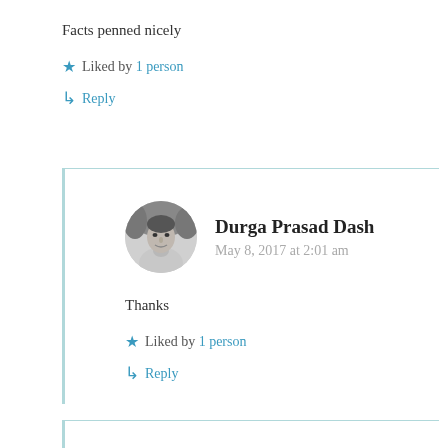Facts penned nicely
★ Liked by 1 person
↳ Reply
Durga Prasad Dash
May 8, 2017 at 2:01 am
Thanks
★ Liked by 1 person
↳ Reply